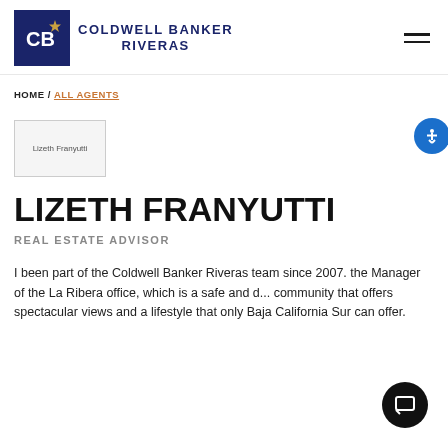COLDWELL BANKER RIVERAS
HOME / ALL AGENTS
[Figure (photo): Lizeth Franyutti agent photo placeholder]
LIZETH FRANYUTTI
REAL ESTATE ADVISOR
I been part of the Coldwell Banker Riveras team since 2007. the Manager of the La Ribera office, which is a safe and d... community that offers spectacular views and a lifestyle that only Baja California Sur can offer.